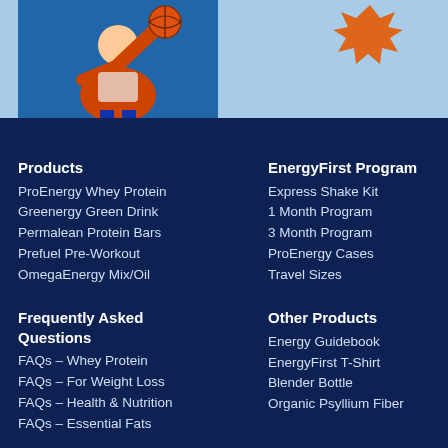[Figure (photo): Basketball player photo on light blue banner background with orange starburst graphic]
Products
ProEnergy Whey Protein
Greenergy Green Drink
Permalean Protein Bars
Prefuel Pre-Workout
OmegaEnergy Mix/Oil
EnergyFirst Program
Express Shake Kit
1 Month Program
3 Month Program
ProEnergy Cases
Travel Sizes
Frequently Asked Questions
FAQs – Whey Protein
FAQs – For Weight Loss
FAQs – Health & Nutrition
FAQs – Essential Fats
Other Products
Energy Guidebook
EnergyFirst T-Shirt
Blender Bottle
Organic Psyllium Fiber